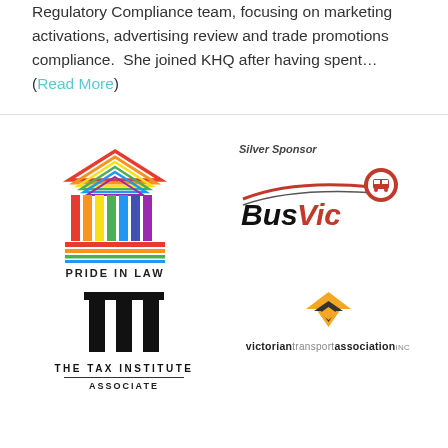Regulatory Compliance team, focusing on marketing activations, advertising review and trade promotions compliance. She joined KHQ after having spent... (Read More)
[Figure (logo): Pride in Law logo — a rainbow-coloured classical columns/temple graphic above the text PRIDE IN LAW]
[Figure (logo): BusVic logo with 'Silver Sponsor' label above — swoosh lines and circular icon with bus]
[Figure (logo): The Tax Institute Associate logo — stylised TT columns symbol above text THE TAX INSTITUTE / ASSOCIATE]
[Figure (logo): Victorian Transport Association logo — orange/black chevron V mark above text 'victorian transport association']